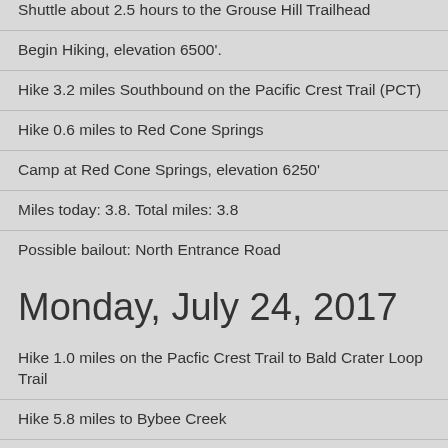Shuttle about 2.5 hours to the Grouse Hill Trailhead
Begin Hiking, elevation 6500'.
Hike 3.2 miles Southbound on the Pacific Crest Trail (PCT)
Hike 0.6 miles to Red Cone Springs
Camp at Red Cone Springs, elevation 6250'
Miles today: 3.8. Total miles: 3.8
Possible bailout: North Entrance Road
Monday, July 24, 2017
Hike 1.0 miles on the Pacfic Crest Trail to Bald Crater Loop Trail
Hike 5.8 miles to Bybee Creek
Camp at Bybee Creek, elevation 5750'